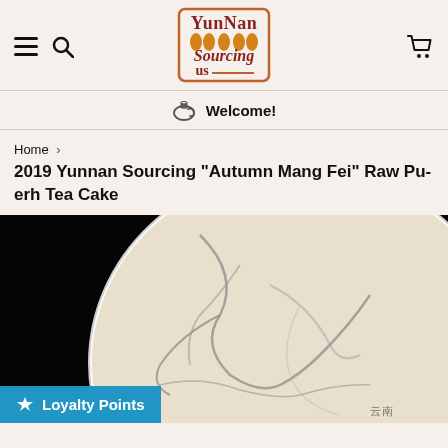Yunnan Sourcing US — navigation header with menu, search, logo, and cart icons
Welcome!
Home › 2019 Yunnan Sourcing "Autumn Mang Fei" Raw Pu-erh Tea Cake
2019 Yunnan Sourcing "Autumn Mang Fei" Raw Pu-erh Tea Cake
[Figure (photo): Product photo of a round pu-erh tea cake with decorative artwork on white wrapper, shown against black background]
Loyalty Points